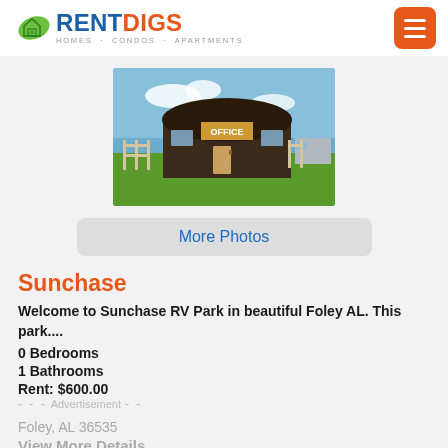RENTDIGS HOMES · CONDOS · APARTMENTS
[Figure (photo): Exterior photo of Sunchase RV Park office building with green lawn and blue sky]
More Photos
Sunchase
Welcome to Sunchase RV Park in beautiful Foley AL. This park....
0 Bedrooms
1 Bathrooms
Rent: $600.00
Advertisement
Foley, AL 36535
View More Details